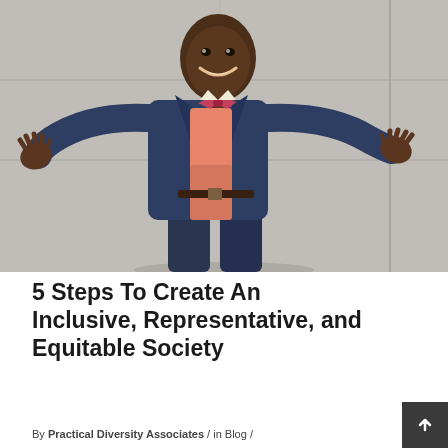[Figure (photo): A smiling Black man in a navy blue suit and salmon/coral shirt with a patterned bow tie, standing with arms outstretched against a concrete wall background.]
5 Steps To Create An Inclusive, Representative, and Equitable Society
By Practical Diversity Associates / in Blog /